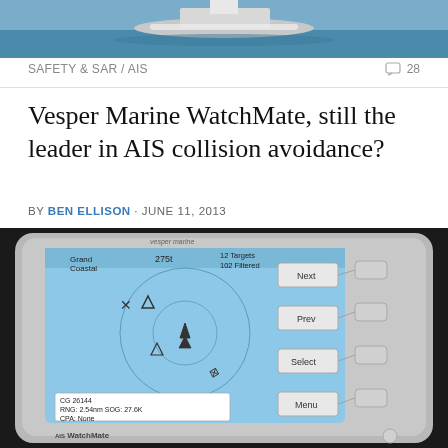[Figure (photo): Aerial or side view of a boat on blue water, cropped at top of page]
SAFETY & SAR / AIS
28 comments
Vesper Marine WatchMate, still the leader in AIS collision avoidance?
BY BEN ELLISON · JUNE 11, 2013
[Figure (photo): Photo of the Vesper Marine WatchMate AIS device showing its screen with radar/AIS target display, buttons labeled Next, Prev, Select, Menu, and the vesper marine logo]